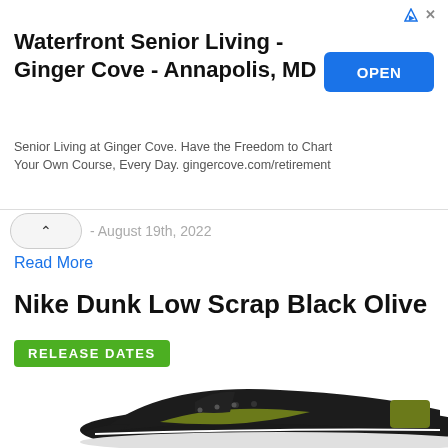[Figure (other): Advertisement banner for Waterfront Senior Living - Ginger Cove - Annapolis, MD with blue OPEN button]
- August 19th, 2022
Read More
Nike Dunk Low Scrap Black Olive
RELEASE DATES
[Figure (photo): Nike Dunk Low Scrap Black Olive sneaker shown from the side, black and olive green colorway]